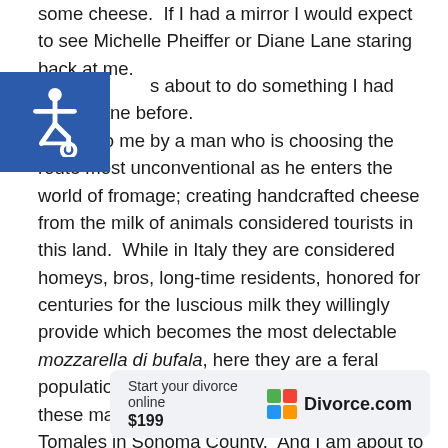some cheese.  If I had a mirror I would expect to see Michelle Pheiffer or Diane Lane staring back at me.
[Figure (illustration): Blue square accessibility icon with wheelchair symbol in white]
s about to do something I had never done before. Taught to me by a man who is choosing the route most unconventional as he enters the world of fromage; creating handcrafted cheese from the milk of animals considered tourists in this land.  While in Italy they are considered homeys, bros, long-time residents, honored for centuries for the luscious milk they willingly provide which becomes the most delectable mozzarella di bufala, here they are a feral population.  Slim.  Nearly none.  Forty-four of these magnificent creatures dot the hills of Tomales in Sonoma County.  And I am about to become quite intimate with them.
[Figure (other): Advertisement: Start your divorce online $199 — Divorce.com with colorful logo]